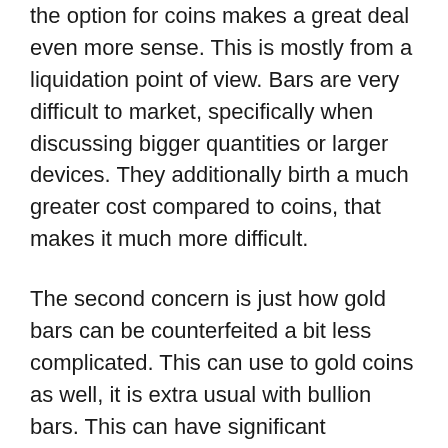the option for coins makes a great deal even more sense. This is mostly from a liquidation point of view. Bars are very difficult to market, specifically when discussing bigger quantities or larger devices. They additionally birth a much greater cost compared to coins, that makes it much more difficult.
The second concern is just how gold bars can be counterfeited a bit less complicated. This can use to gold coins as well, it is extra usual with bullion bars. This can have significant consequences for both the user and the individual retirement account carrier, therefore it is best to go for the safest options with the least headaches.